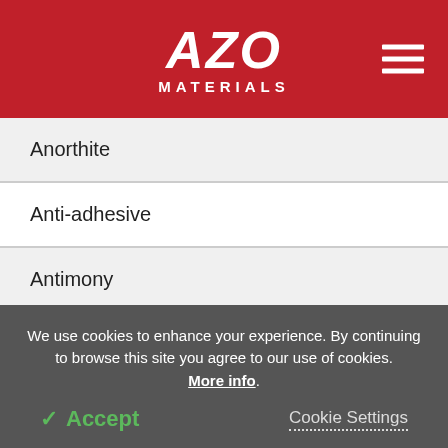AZO MATERIALS
Anorthite
Anti-adhesive
Antimony
Antimony impregnated carbon
Antimony tin oxide
We use cookies to enhance your experience. By continuing to browse this site you agree to our use of cookies. More info.
✓ Accept   Cookie Settings